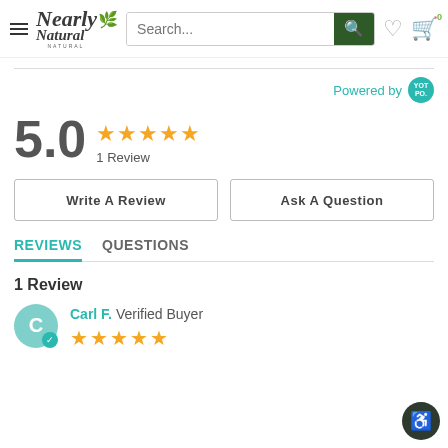[Figure (screenshot): Nearly Natural website header with hamburger menu, logo, search bar, wishlist heart icon and cart icon with 0 items]
Powered by YOT PO.
5.0 ★★★★★ 1 Review
Write A Review
Ask A Question
REVIEWS   QUESTIONS
1 Review
Carl F. Verified Buyer ★★★★★